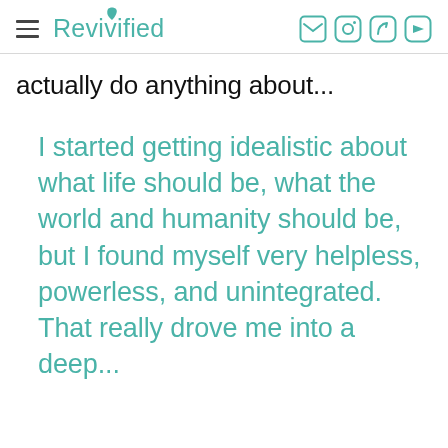Revivified
actually do anything about...
I started getting idealistic about what life should be, what the world and humanity should be, but I found myself very helpless, powerless, and unintegrated. That really drove me into a deep...